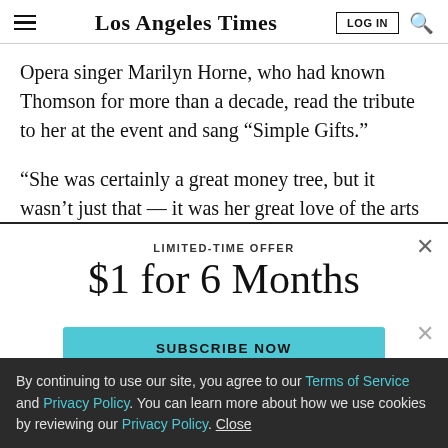Los Angeles Times
Opera singer Marilyn Horne, who had known Thomson for more than a decade, read the tribute to her at the event and sang “Simple Gifts.”
“She was certainly a great money tree, but it wasn’t just that—it was her great love of the arts that…
LIMITED-TIME OFFER
$1 for 6 Months
SUBSCRIBE NOW
By continuing to use our site, you agree to our Terms of Service and Privacy Policy. You can learn more about how we use cookies by reviewing our Privacy Policy. Close